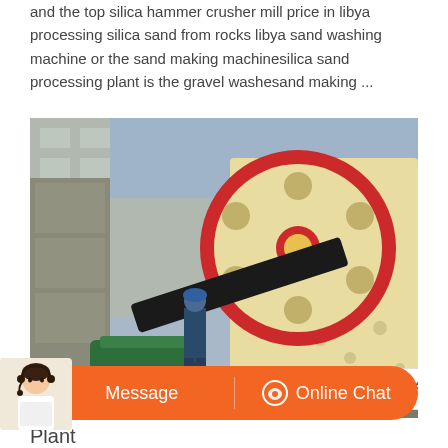and the top silica hammer crusher mill price in libya processing silica sand from rocks libya sand washing machine or the sand making machinesilica sand processing plant is the gravel washesand making ...
[Figure (photo): Large industrial jaw crusher machine with a worker in blue hard hat standing beside it. A large flywheel with red rim is prominently visible. A green electric motor is in the foreground. Industrial building in background.]
Message   Online Chat
Plant